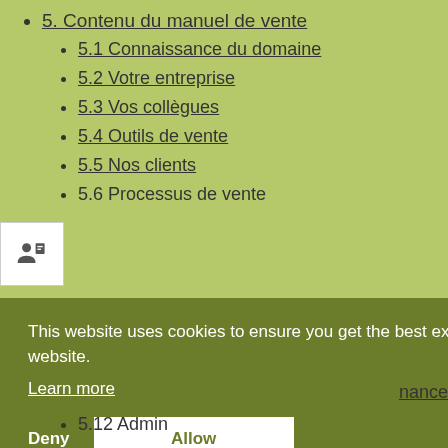5. Contenu du manuel de vente
5.1 Connaissance du domaine
5.2 Votre entreprise
5.3 Vos collègues
5.4 Outils de vente
5.5 Nos clients
5.6 Processus de vente
This website uses cookies to ensure you get the best experience on our website.
Learn more
Deny
Allow
5.12 Admin